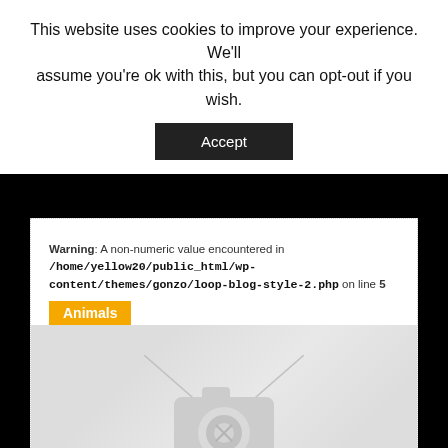This website uses cookies to improve your experience. We'll assume you're ok with this, but you can opt-out if you wish.
Accept
Warning: A non-numeric value encountered in /home/yellow20/public_html/wp-content/themes/gonzo/loop-blog-style-2.php on line 5
Animals
[Figure (photo): Placeholder image with camera icon — no image loaded]
Heaviside's Dolphin: South Africa's Reticent Dolphin
May 23rd, 2013 | by Yellow Magpie
Heaviside's Dolphin Photo By Jutta Luft Creative